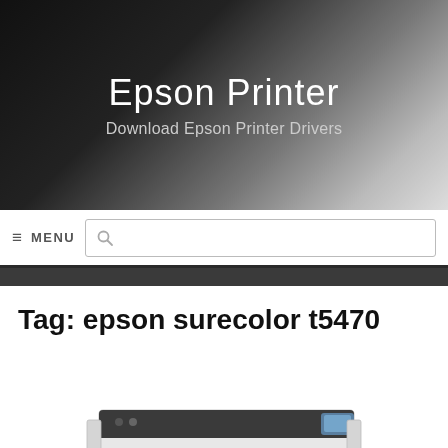Epson Printer
Download Epson Printer Drivers
≡  MENU
[Figure (screenshot): Search box with magnifying glass icon]
Tag: epson surecolor t5470
[Figure (photo): Epson SureColor T5470 large format printer, white and grey body with black accents, shown from front-left angle on a stand]